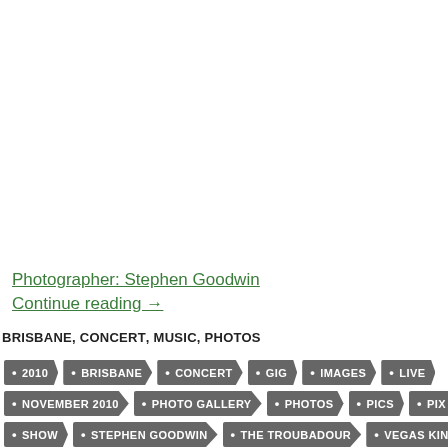Photographer: Stephen Goodwin
Continue reading →
BRISBANE, CONCERT, MUSIC, PHOTOS
2010
BRISBANE
CONCERT
GIG
IMAGES
LIVE
NOVEMBER 2010
PHOTO GALLERY
PHOTOS
PICS
PIX
SHOW
STEPHEN GOODWIN
THE TROUBADOUR
VEGAS KINGS